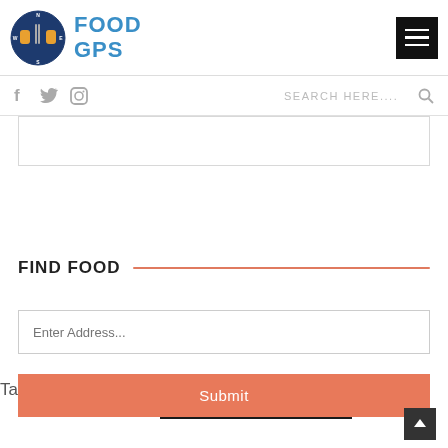FOOD GPS
Tasty Food Fried Hainan Chicken (Food of the Week)
POST COMMENT
FIND FOOD
Enter Address...
Submit